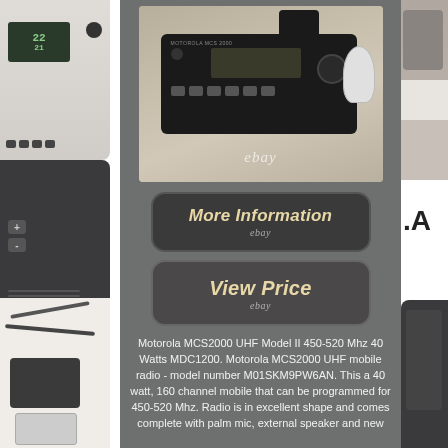[Figure (photo): Left sidebar showing a Motorola handheld radio device (top), cable and charger accessories (bottom)]
[Figure (photo): Product photo of a Motorola MCS2000 UHF mobile radio unit with ebay watermark]
[Figure (screenshot): Button styled ebay listing banner reading 'More Information' with ebay watermark below]
[Figure (screenshot): Button styled ebay listing banner reading 'View Price' with ebay watermark below]
Motorola MCS2000 UHF Model II 450-520 Mhz 40 Watts MDC1200. Motorola MCS2000 UHF mobile radio - model number M01SKM9PW6AN. This a 40 watt, 160 channel mobile that can be programmed for 450-520 Mhz. Radio is in excellent shape and comes complete with palm mic, external speaker and new
[Figure (photo): Right sidebar showing partial views of a Motorola radio and accessories, with text '.A' visible]